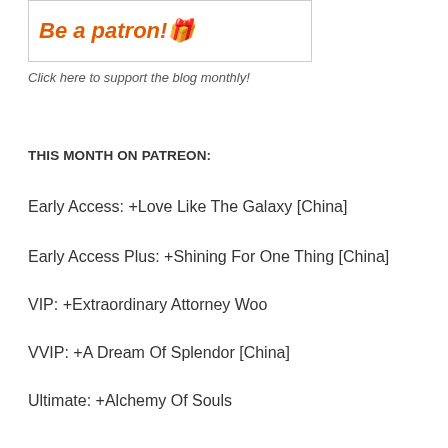[Figure (illustration): Patreon banner with 'Be a patron!' text in orange italic bold font and a small illustrated character]
Click here to support the blog monthly!
THIS MONTH ON PATREON:
Early Access: +Love Like The Galaxy [China]
Early Access Plus: +Shining For One Thing [China]
VIP: +Extraordinary Attorney Woo
VVIP: +A Dream Of Splendor [China]
Ultimate: +Alchemy Of Souls